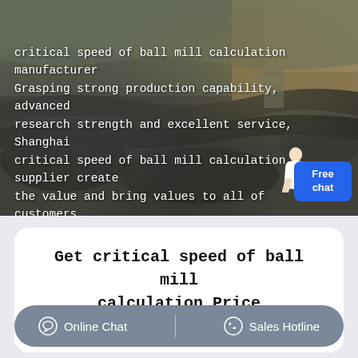[Figure (photo): Aerial view of an open-pit mine or quarry with rocky terrain, machinery, and industrial equipment. Overlay text describes a ball mill calculation manufacturer.]
critical speed of ball mill calculation manufacturer Grasping strong production capability, advanced research strength and excellent service, Shanghai critical speed of ball mill calculation supplier create the value and bring values to all of customers.
Get critical speed of ball mill calculation Price supplier@pfpew.com
Online Chat | Sales Hotline